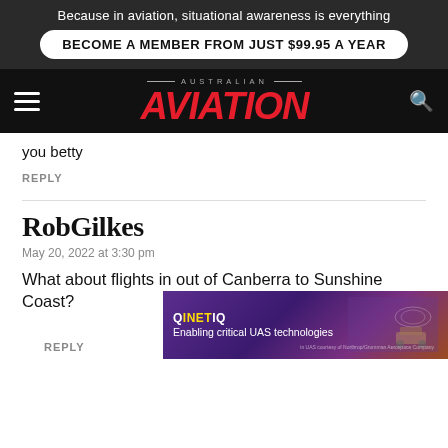Because in aviation, situational awareness is everything
BECOME A MEMBER FROM JUST $99.95 A YEAR
AUSTRALIAN AVIATION
you betty
REPLY
RobGilkes
May 20, 2022 at 3:30 pm
What about flights in out of Canberra to Sunshine Coast?
REPLY
[Figure (screenshot): QinetiQ advertisement: purple/violet background with abstract shapes and military vehicle imagery. Text: QINETIQ Enabling critical UAS technologies]